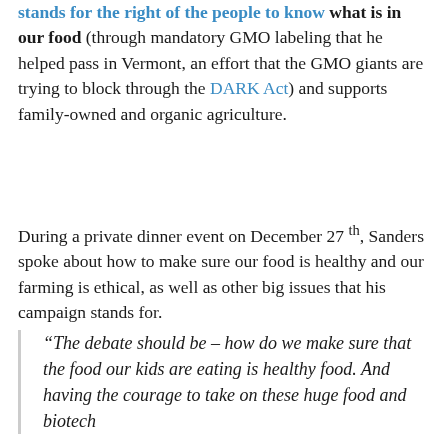stands for the right of the people to know what is in our food (through mandatory GMO labeling that he helped pass in Vermont, an effort that the GMO giants are trying to block through the DARK Act) and supports family-owned and organic agriculture.
During a private dinner event on December 27th, Sanders spoke about how to make sure our food is healthy and our farming is ethical, as well as other big issues that his campaign stands for.
“The debate should be – how do we make sure that the food our kids are eating is healthy food. And having the courage to take on these huge food and biotech